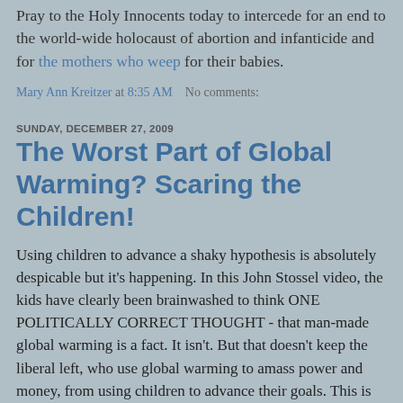Pray to the Holy Innocents today to intercede for an end to the world-wide holocaust of abortion and infanticide and for the mothers who weep for their babies.
Mary Ann Kreitzer at 8:35 AM   No comments:
SUNDAY, DECEMBER 27, 2009
The Worst Part of Global Warming? Scaring the Children!
Using children to advance a shaky hypothesis is absolutely despicable but it's happening. In this John Stossel video, the kids have clearly been brainwashed to think ONE POLITICALLY CORRECT THOUGHT - that man-made global warming is a fact. It isn't. But that doesn't keep the liberal left, who use global warming to amass power and money, from using children to advance their goals. This is the same liberal left that favors abortion on demand. One can only come to the conclusion that liberalism is a philosophy that hates children - and humanity in general. Children are cogs in the liberal ad machine to tug at the